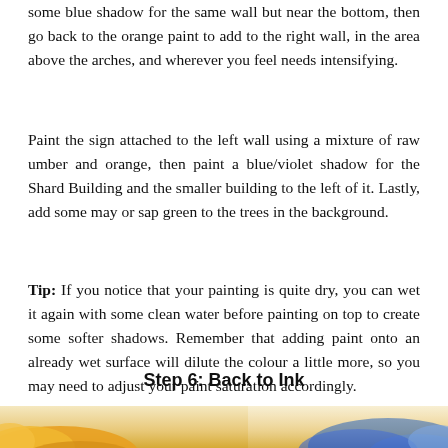some blue shadow for the same wall but near the bottom, then go back to the orange paint to add to the right wall, in the area above the arches, and wherever you feel needs intensifying.
Paint the sign attached to the left wall using a mixture of raw umber and orange, then paint a blue/violet shadow for the Shard Building and the smaller building to the left of it. Lastly, add some may or sap green to the trees in the background.
Tip: If you notice that your painting is quite dry, you can wet it again with some clean water before painting on top to create some softer shadows. Remember that adding paint onto an already wet surface will dilute the colour a little more, so you may need to adjust your paint saturation accordingly.
Step 6: Back to Ink
[Figure (photo): Bottom portion of a watercolour painting showing orange and blue paint colours, partially visible at the very bottom of the page.]